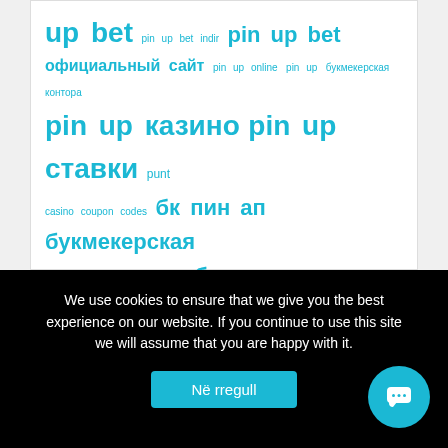[Figure (infographic): Tag cloud with cyan/teal colored keywords in Russian and English related to pin up betting and casino, displayed in varying font sizes indicating frequency/importance.]
We use cookies to ensure that we give you the best experience on our website. If you continue to use this site we will assume that you are happy with it.
Në rregull